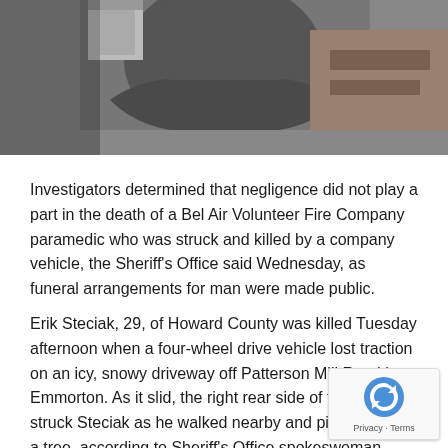[Figure (photo): Photo of a person standing with arms crossed in what appears to be a garage or kitchen setting, cropped to show torso only]
Investigators determined that negligence did not play a part in the death of a Bel Air Volunteer Fire Company paramedic who was struck and killed by a company vehicle, the Sheriff's Office said Wednesday, as funeral arrangements for man were made public.
Erik Steciak, 29, of Howard County was killed Tuesday afternoon when a four-wheel drive vehicle lost traction on an icy, snowy driveway off Patterson Mill Road in Emmorton. As it slid, the right rear side of the vehicle struck Steciak as he walked nearby and pinned him to a tree, according to Sheriff's Office spokeswoman Cristi Kahler.